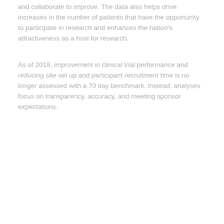and collaborate to improve. The data also helps drive increases in the number of patients that have the opportunity to participate in research and enhances the nation's attractiveness as a host for research.
As of 2018, improvement in clinical trial performance and reducing site set up and participant recruitment time is no longer assessed with a 70 day benchmark. Instead, analyses focus on transparency, accuracy, and meeting sponsor expectations.